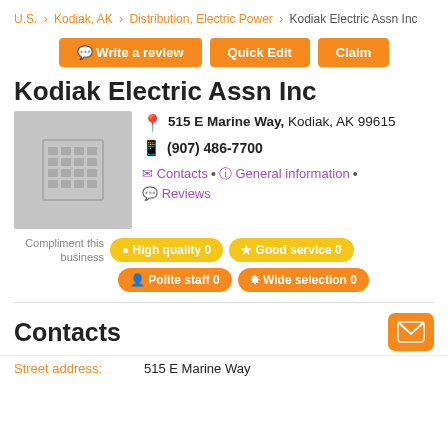U.S. > Kodiak, AK > Distribution, Electric Power > Kodiak Electric Assn Inc
Write a review | Quick Edit | Claim
Kodiak Electric Assn Inc
515 E Marine Way, Kodiak, AK 99615
(907) 486-7700
Contacts • General information • Reviews
Compliment this business: High quality 0 | Good service 0 | Polite staff 0 | Wide selection 0
Contacts
Street address: 515 E Marine Way